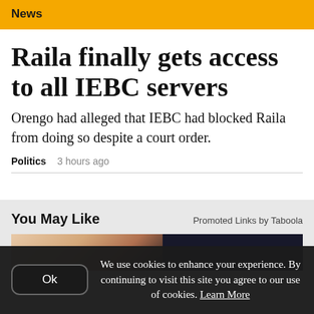News
Raila finally gets access to all IEBC servers
Orengo had alleged that IEBC had blocked Raila from doing so despite a court order.
Politics   3 hours ago
You May Like
Promoted Links by Taboola
[Figure (photo): Partial advertisement image showing a two-toned bar: left side warm peach/copper gradient, right side dark navy/black.]
We use cookies to enhance your experience. By continuing to visit this site you agree to our use of cookies. Learn More